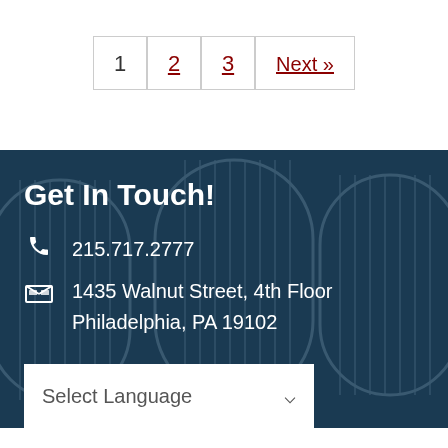1  2  3  Next »
Get In Touch!
215.717.2777
1435 Walnut Street, 4th Floor
Philadelphia, PA 19102
Select Language